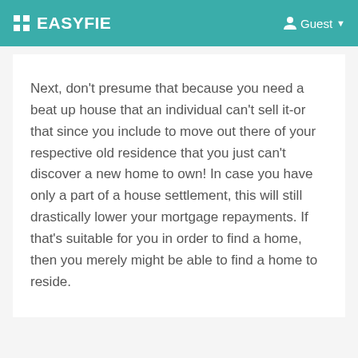EASYFIE  Guest
Next, don't presume that because you need a beat up house that an individual can't sell it-or that since you include to move out there of your respective old residence that you just can't discover a new home to own! In case you have only a part of a house settlement, this will still drastically lower your mortgage repayments. If that's suitable for you in order to find a home, then you merely might be able to find a home to reside.